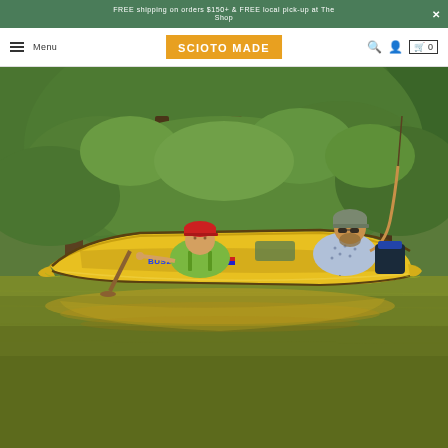FREE shipping on orders $150+ & FREE local pick-up at The Shop
Menu | SCIOTO MADE | 0
[Figure (photo): Two people in a yellow canoe on a calm, greenish river surrounded by dense green trees. A child in a red cap and green life jacket sits in the front; an adult man with sunglasses and a patterned shirt holds a fishing rod in the back. The canoe has a registration number BUS255FJ on its side. The yellow canoe is reflected in the still water below.]